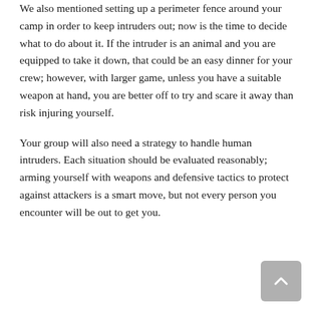We also mentioned setting up a perimeter fence around your camp in order to keep intruders out; now is the time to decide what to do about it. If the intruder is an animal and you are equipped to take it down, that could be an easy dinner for your crew; however, with larger game, unless you have a suitable weapon at hand, you are better off to try and scare it away than risk injuring yourself.
Your group will also need a strategy to handle human intruders. Each situation should be evaluated reasonably; arming yourself with weapons and defensive tactics to protect against attackers is a smart move, but not every person you encounter will be out to get you.